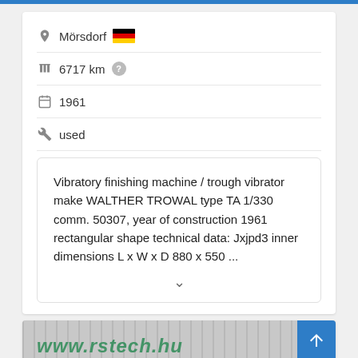Mörsdorf [Germany flag] 6717 km [?]
1961
used
Vibratory finishing machine / trough vibrator make WALTHER TROWAL type TA 1/330 comm. 50307, year of construction 1961 rectangular shape technical data: Jxjpd3 inner dimensions L x W x D 880 x 550 ...
[Figure (screenshot): Website image showing www.rstech.hu with a Save search query yellow button]
Save search query